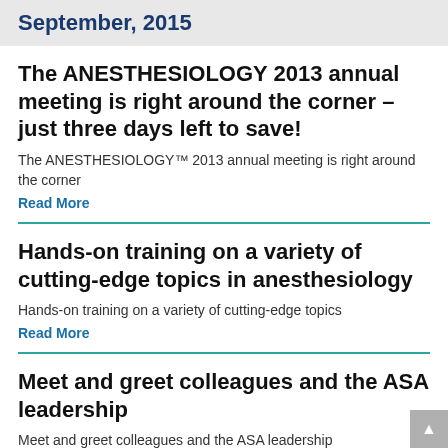September, 2015
The ANESTHESIOLOGY 2013 annual meeting is right around the corner – just three days left to save!
The ANESTHESIOLOGY™ 2013 annual meeting is right around the corner
Read More
Hands-on training on a variety of cutting-edge topics in anesthesiology
Hands-on training on a variety of cutting-edge topics
Read More
Meet and greet colleagues and the ASA leadership
Meet and greet colleagues and the ASA leadership